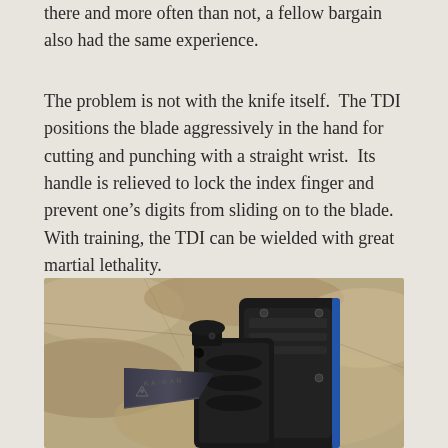there and more often than not, a fellow bargain also had the same experience.
The problem is not with the knife itself.  The TDI positions the blade aggressively in the hand for cutting and punching with a straight wrist.  Its handle is relieved to lock the index finger and prevent one's digits from sliding on to the blade.  With training, the TDI can be wielded with great martial lethality.
[Figure (photo): Close-up photograph of a KA-BAR TDI knife with black blade and black polymer handle/sheath on a rocky granite surface background. The knife shows the KA-BAR logo and a triangular emblem on the blade.]